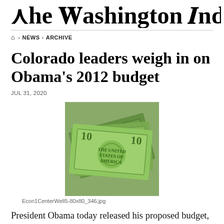The Washington Indeper
🏠 › NEWS › ARCHIVE
Colorado leaders weigh in on Obama's 2012 budget
JUL 31, 2020
[Figure (photo): Photo of US dollar bills fanned out, green currency visible with partial text 'THE UNITED STATES OF AMERICA']
Econ1CenterWell5-80x80_346.jpg
President Obama today released his proposed budget, calling for investment in infrastructure and education but also pledging massive cuts over the next decade.